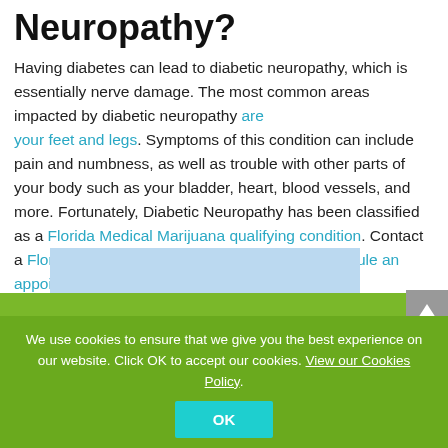Neuropathy?
Having diabetes can lead to diabetic neuropathy, which is essentially nerve damage. The most common areas impacted by diabetic neuropathy are your feet and legs. Symptoms of this condition can include pain and numbness, as well as trouble with other parts of your body such as your bladder, heart, blood vessels, and more. Fortunately, Diabetic Neuropathy has been classified as a Florida Medical Marijuana qualifying condition. Contact a Florida Medical Marijuana doctor today to schedule an appointment!
[Figure (photo): Green background image partially visible at bottom of page]
We use cookies to ensure that we give you the best experience on our website. Click OK to accept our cookies. View our Cookies Policy.